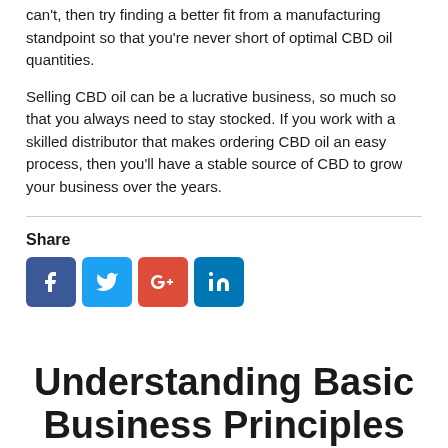can't, then try finding a better fit from a manufacturing standpoint so that you're never short of optimal CBD oil quantities.
Selling CBD oil can be a lucrative business, so much so that you always need to stay stocked. If you work with a skilled distributor that makes ordering CBD oil an easy process, then you'll have a stable source of CBD to grow your business over the years.
Share
[Figure (infographic): Social media share buttons: Facebook (blue), Twitter (light blue), Google+ (red), LinkedIn (blue)]
Understanding Basic Business Principles